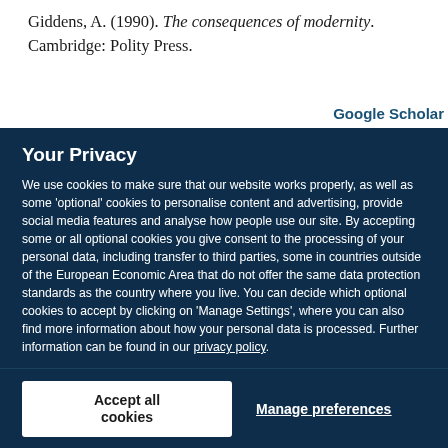Giddens, A. (1990). The consequences of modernity. Cambridge: Polity Press.
Google Scholar
Your Privacy
We use cookies to make sure that our website works properly, as well as some 'optional' cookies to personalise content and advertising, provide social media features and analyse how people use our site. By accepting some or all optional cookies you give consent to the processing of your personal data, including transfer to third parties, some in countries outside of the European Economic Area that do not offer the same data protection standards as the country where you live. You can decide which optional cookies to accept by clicking on 'Manage Settings', where you can also find more information about how your personal data is processed. Further information can be found in our privacy policy.
Accept all cookies
Manage preferences